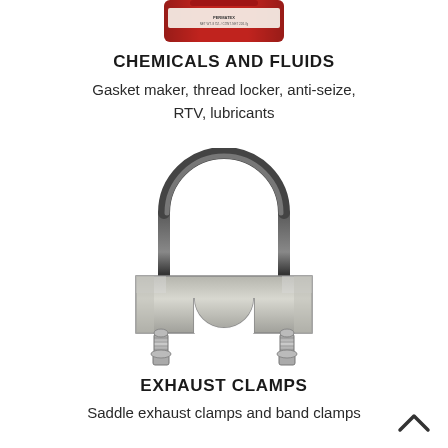[Figure (photo): Partial view of a red aerosol/chemical can, cropped at top of page, label partially visible reading NET WT 8 OZ]
CHEMICALS AND FLUIDS
Gasket maker, thread locker, anti-seize, RTV, lubricants
[Figure (photo): A large U-bolt style exhaust clamp / saddle clamp, silver/chrome metallic, with a round U-shaped rod on top and a flat saddle bracket at the bottom with two bolt ends, photographed against white background]
EXHAUST CLAMPS
Saddle exhaust clamps and band clamps